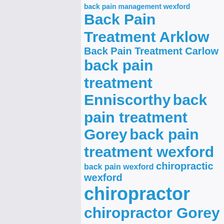[Figure (infographic): Tag cloud of chiropractic and back pain related search terms in varying font sizes, all in blue color on a light gray background. Terms include: back pain management wexford, Back Pain Treatment Arklow, Back Pain Treatment Carlow, back pain treatment Enniscorthy, back pain treatment Gorey, back pain treatment wexford, back pain wexford, chiropractic wexford, chiropractor, chiropractor Gorey]